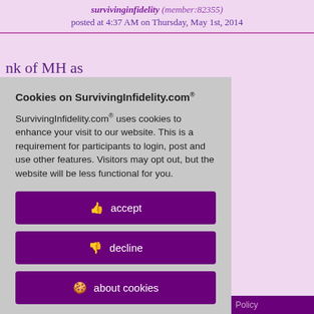survivinginfidelity (member:82355) posted at 4:37 AM on Thursday, May 1st, 2014
nk of MH as think "out is friend right s like with the re is suddenly et his sister's visit his ss over details, o listen and be letails? He's his worst ere without
Cookies on SurvivingInfidelity.com®
SurvivingInfidelity.com® uses cookies to enhance your visit to our website. This is a requirement for participants to login, post and use other features. Visitors may opt out, but the website will be less functional for you.
accept
decline
about cookies
Policy